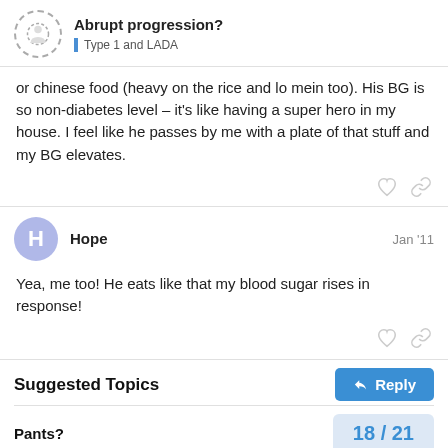Abrupt progression? Type 1 and LADA
or chinese food (heavy on the rice and lo mein too). His BG is so non-diabetes level – it's like having a super hero in my house. I feel like he passes by me with a plate of that stuff and my BG elevates.
Hope  Jan '11
Yea, me too! He eats like that my blood sugar rises in response!
Suggested Topics
Pants?
18 / 21